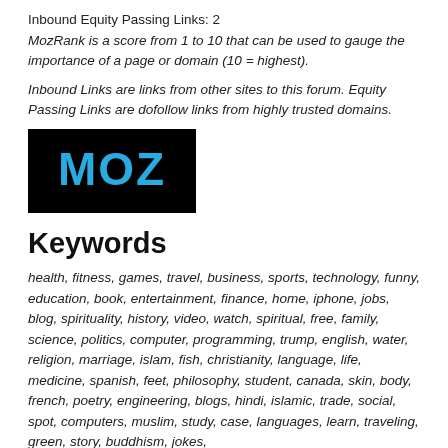Inbound Equity Passing Links: 2
MozRank is a score from 1 to 10 that can be used to gauge the importance of a page or domain (10 = highest).
Inbound Links are links from other sites to this forum. Equity Passing Links are dofollow links from highly trusted domains.
[Figure (logo): MOZ logo — white/cyan 'MOZ' text on black background]
Keywords
health, fitness, games, travel, business, sports, technology, funny, education, book, entertainment, finance, home, iphone, jobs, blog, spirituality, history, video, watch, spiritual, free, family, science, politics, computer, programming, trump, english, water, religion, marriage, islam, fish, christianity, language, life, medicine, spanish, feet, philosophy, student, canada, skin, body, french, poetry, engineering, blogs, hindi, islamic, trade, social, spot, computers, muslim, study, case, languages, learn, traveling, green, story, buddhism, jokes,